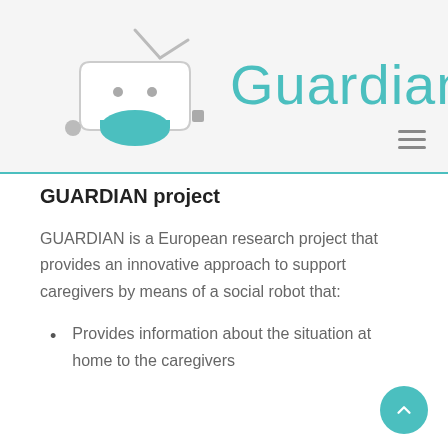needed or when the care plan should be adjusted.
[Figure (logo): Guardian robot logo — a small rounded robot head with teal accents, and the word 'Guardian' in large teal text beside it]
GUARDIAN project
GUARDIAN is a European research project that provides an innovative approach to support caregivers by means of a social robot that:
Provides information about the situation at home to the caregivers